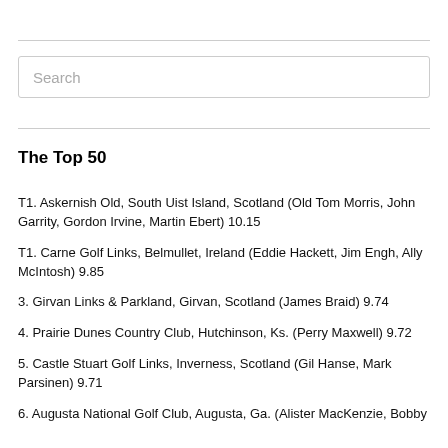Search
The Top 50
T1. Askernish Old, South Uist Island, Scotland (Old Tom Morris, John Garrity, Gordon Irvine, Martin Ebert) 10.15
T1. Carne Golf Links, Belmullet, Ireland (Eddie Hackett, Jim Engh, Ally McIntosh) 9.85
3. Girvan Links & Parkland, Girvan, Scotland (James Braid) 9.74
4. Prairie Dunes Country Club, Hutchinson, Ks. (Perry Maxwell) 9.72
5. Castle Stuart Golf Links, Inverness, Scotland (Gil Hanse, Mark Parsinen) 9.71
6. Augusta National Golf Club, Augusta, Ga. (Alister MacKenzie, Bobby